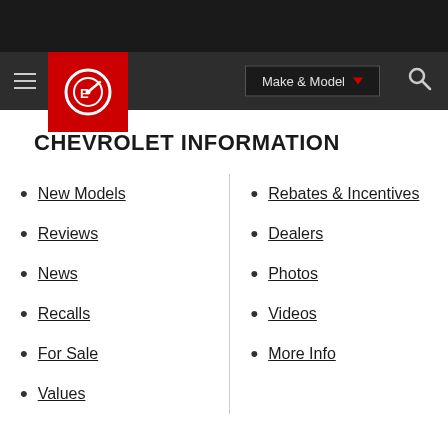[Figure (screenshot): Website navigation bar with hamburger menu, Edmunds logo in red box, Make & Model dropdown button, and search icon on dark background]
CHEVROLET INFORMATION
New Models
Reviews
News
Recalls
For Sale
Values
Rebates & Incentives
Dealers
Photos
Videos
More Info